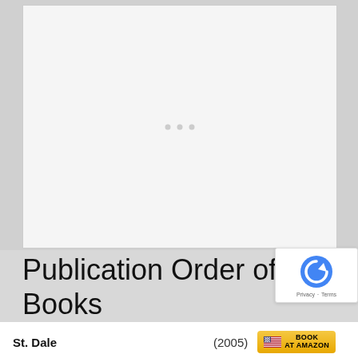[Figure (other): Large white placeholder image area with three gray loading dots in the center]
Publication Order of St. Dale Books
| Title | Year | Buy |
| --- | --- | --- |
| St. Dale | (2005) | BOOK AT AMAZON |
| Once Around The Track | (2007) | BOOK AT AMAZON |
| Faster Pastor | (2009) | BOOK AT AMAZON |
(With: Adam Edwards)